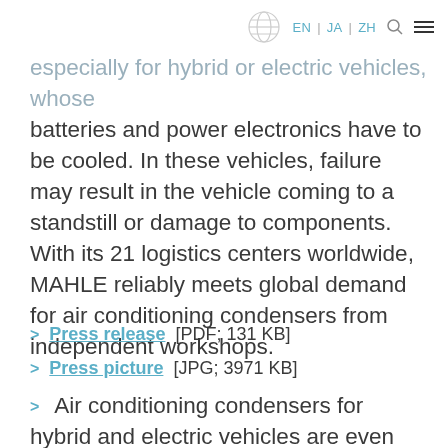EN | JA | ZH
especially for hybrid or electric vehicles, whose batteries and power electronics have to be cooled. In these vehicles, failure may result in the vehicle coming to a standstill or damage to components. With its 21 logistics centers worldwide, MAHLE reliably meets global demand for air conditioning condensers from independent workshops.
Press release [PDF; 131 KB]
Press picture [JPG; 3971 KB]
Air conditioning condensers for hybrid and electric vehicles are even more operationally relevant than those